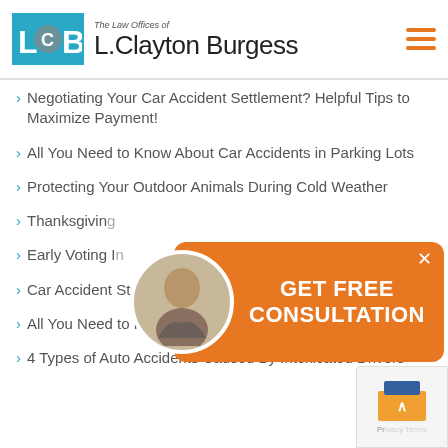The Law Offices of L. Clayton Burgess
Negotiating Your Car Accident Settlement? Helpful Tips to Maximize Payment!
All You Need to Know About Car Accidents in Parking Lots
Protecting Your Outdoor Animals During Cold Weather
Thanksgiving [partial, obscured by popup]
Early Voting I[n...] (partially obscured)
Car Accident Statistics in Baton Rouge, LA
All You Need to Know About Drunk Driving Car Accidents
4 Types of Auto Accidents Caused By Intoxicated Drivers
[Figure (photo): GET FREE CONSULTATION popup with photo of attorney, orange background]